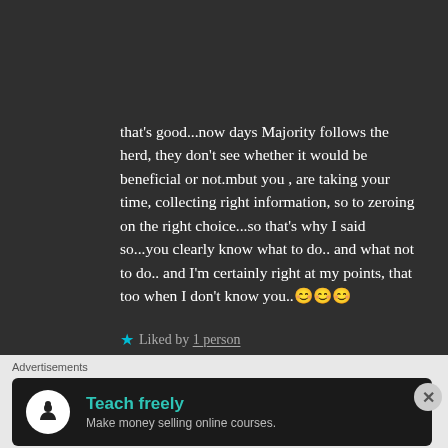that's good...now days Majority follows the herd, they don't see whether it would be beneficial or not.mbut you , are taking your time, collecting right information, so to zeroing on the right choice...so that's why I said so...you clearly know what to do.. and what not to do.. and I'm certainly right at my points, that too when I don't know you..😊😊😊
★ Liked by 1 person
Advertisements
[Figure (screenshot): Advertisement banner for an online course platform with icon, title 'Teach freely' and subtitle 'Make money selling online courses.']